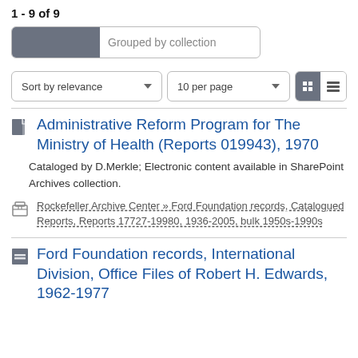1 - 9 of 9
Grouped by collection
Sort by relevance
10 per page
Administrative Reform Program for The Ministry of Health (Reports 019943), 1970
Cataloged by D.Merkle; Electronic content available in SharePoint Archives collection.
Rockefeller Archive Center » Ford Foundation records, Catalogued Reports, Reports 17727-19980, 1936-2005, bulk 1950s-1990s
Ford Foundation records, International Division, Office Files of Robert H. Edwards, 1962-1977